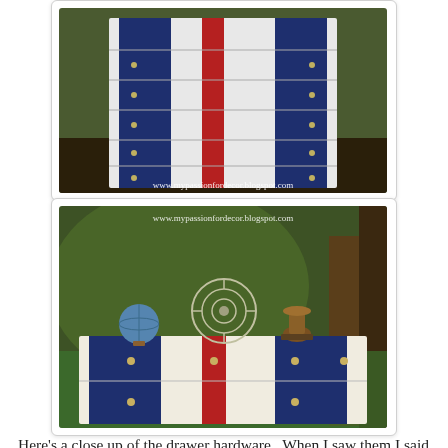[Figure (photo): A white dresser with navy blue vertical stripes and a red center stripe, photographed outdoors. Watermark reads www.mypassionfordecor.blogspot.com]
[Figure (photo): A white dresser with navy blue and red stripes photographed outdoors, with a vintage fan, globe, and trophy on top. Watermark reads www.mypassionfordecor.blogspot.com]
Here's a close up of the drawer hardware.  When I saw them I said out loud in the aisle at Home Depot  "OH MY GOSH!